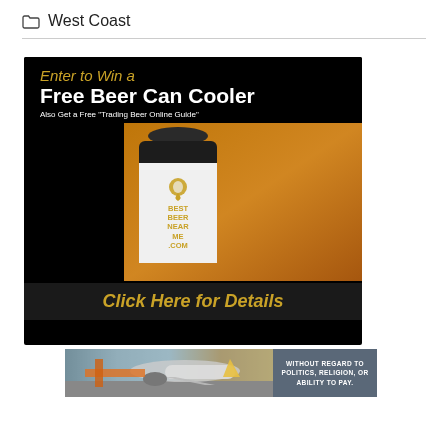West Coast
[Figure (illustration): Advertisement banner: Enter to Win a Free Beer Can Cooler. Also Get a Free Trading Beer Online Guide. Shows a white insulated beer can cooler with BestBeerNearMe.com logo. Click Here for Details button at bottom. Black background with golden beer background.]
[Figure (photo): Advertisement photo showing an airplane being loaded with cargo. Text overlay reads: WITHOUT REGARD TO POLITICS, RELIGION, OR ABILITY TO PAY.]